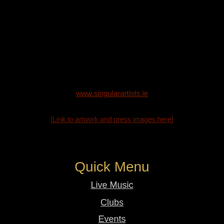www.singularartists.ie
[Link to artwork and press images here]
Quick Menu
Live Music
Clubs
Events